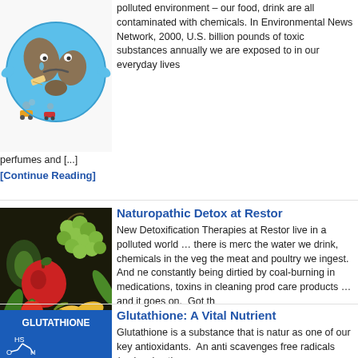[Figure (illustration): Cartoon sad Earth globe illustration with pollution]
polluted environment – our food, drink are all contaminated with chemicals. In Environmental News Network, 2000, U.S. billion pounds of toxic substances annually we are exposed to in our everyday lives perfumes and [...]
[Continue Reading]
[Figure (photo): Photo of fresh vegetables and fruits including grapes, apple, corn, avocado]
Naturopathic Detox at Restor
New Detoxification Therapies at Restor live in a polluted world … there is merc the water we drink, chemicals in the veg the meat and poultry we ingest. And ne constantly being dirtied by coal-burning in medications, toxins in cleaning prod care products … and it goes on. Got th
[Continue Reading]
[Figure (illustration): Blue background image with text GLUTATHIONE and chemical structure diagram]
Glutathione: A Vital Nutrient
Glutathione is a substance that is natur as one of our key antioxidants. An anti scavenges free radicals (molecules tha